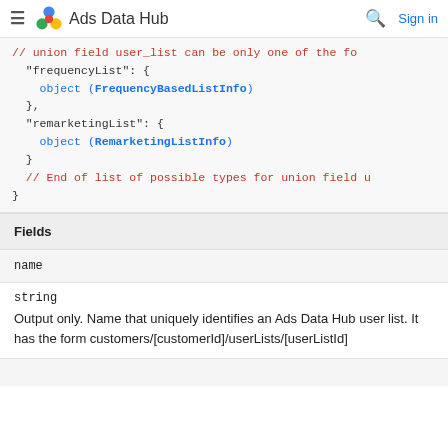≡ Ads Data Hub  🔍 Sign in
[Figure (screenshot): Code block showing JSON structure with frequencyList object (FrequencyBasedListInfo), remarketingList object (RemarketingListInfo), and end of union field comment]
| Fields |
| --- |
| name |
| string | Output only. Name that uniquely identifies an Ads Data Hub user list. It has the form customers/[customerId]/userLists/[userListId] |
| ... |
Output only. Name that uniquely identifies an Ads Data Hub user list. It has the form customers/[customerId]/userLists/[userListId]